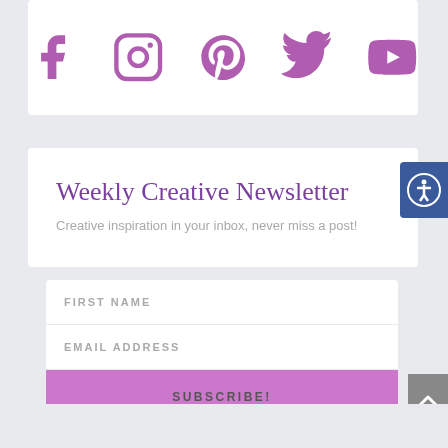[Figure (other): Social media icons row: Facebook, Instagram, Pinterest, Twitter, YouTube — all in purple/violet color on white card]
Weekly Creative Newsletter
Creative inspiration in your inbox, never miss a post!
FIRST NAME
EMAIL ADDRESS
SUBSCRIBE!